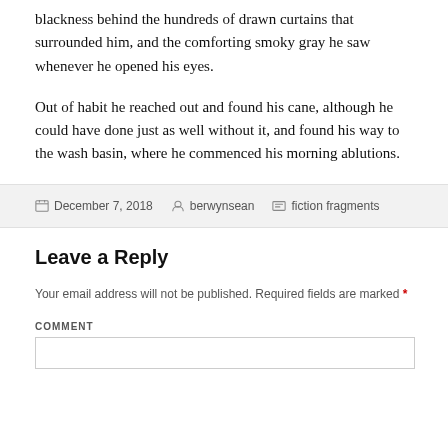blackness behind the hundreds of drawn curtains that surrounded him, and the comforting smoky gray he saw whenever he opened his eyes.
Out of habit he reached out and found his cane, although he could have done just as well without it, and found his way to the wash basin, where he commenced his morning ablutions.
December 7, 2018  berwynsean  fiction fragments
Leave a Reply
Your email address will not be published. Required fields are marked *
COMMENT